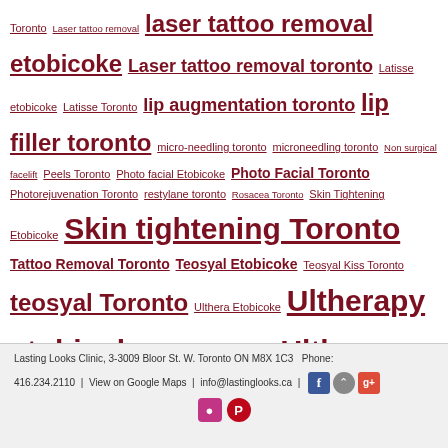Toronto Laser tattoo removal laser tattoo removal etobicoke Laser tattoo removal toronto Latisse etobicoke Latisse Toronto lip augmentation toronto lip filler toronto micro-needling toronto microneedling toronto Non surgical facelift Peels Toronto Photo facial Etobicoke Photo Facial Toronto Photorejuvenation Toronto restylane toronto Rosacea Toronto Skin Tightening Etobicoke Skin tightening Toronto Tattoo Removal Toronto Teosyal Etobicoke Teosyal Kiss Toronto teosyal Toronto Ulthera Etobicoke Ultherapy etobicoke ultherapy skin tightening Ultherapy Toronto ulthera toronto volite toronto Wrinkle fillers Toronto
Lasting Looks Clinic, 3-3009 Bloor St. W. Toronto ON M8X 1C3  Phone: 416.234.2110 | View on Google Maps | info@lastinglooks.ca |